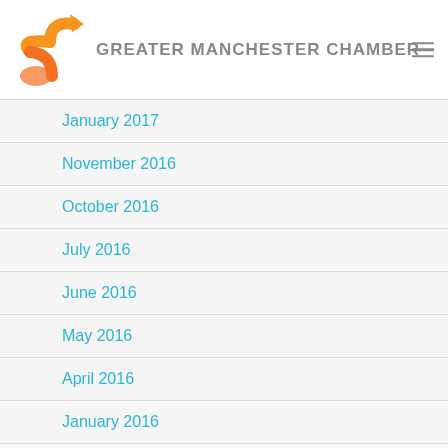GREATER MANCHESTER CHAMBER
January 2017
November 2016
October 2016
July 2016
June 2016
May 2016
April 2016
January 2016
October 2015
July 2015